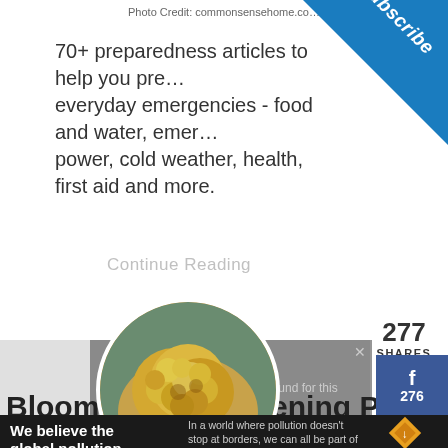Photo Credit: commonsensehome.com
70+ preparedness articles to help you prep everyday emergencies - food and water, emergency power, cold weather, health, first aid and more.
Continue Reading
277
SHARES
[Figure (infographic): Facebook share button with count 276]
[Figure (infographic): Twitter share button]
[Figure (infographic): Pinterest floating circle button and share button with count 1]
[Figure (photo): Circular photo of a yellow/orange cauliflower head]
No compatible source was found for this
Bloom! Make Gardening Part
[Figure (infographic): Subscribe corner banner in blue triangle top-right]
[Figure (infographic): Pure Earth advertisement banner at bottom: We believe the global pollution crisis can be solved. In a world where pollution doesn't stop at borders, we can all be part of the solution. JOIN US. PURE EARTH logo.]